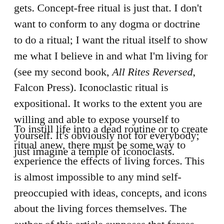gets. Concept-free ritual is just that. I don't want to conform to any dogma or doctrine to do a ritual; I want the ritual itself to show me what I believe in and what I'm living for (see my second book, All Rites Reversed, Falcon Press). Iconoclastic ritual is expositional. It works to the extent you are willing and able to expose yourself to yourself. It's obviously not for everybody; just imagine a temple of iconoclasts.
To instill life into a dead routine or to create ritual anew, there must be some way to experience the effects of living forces. This is almost impossible to any mind self-preoccupied with ideas, concepts, and icons about the living forces themselves. The author of this article supposes that forces, that is to say life itself, exist beyond the creation of mental constructs. In addition, without a profound initial receptivity to